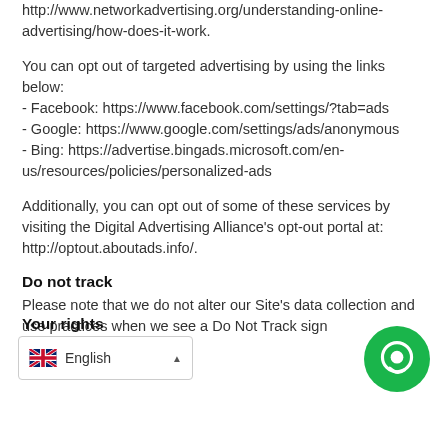http://www.networkadvertising.org/understanding-online-advertising/how-does-it-work.
You can opt out of targeted advertising by using the links below:
- Facebook: https://www.facebook.com/settings/?tab=ads
- Google: https://www.google.com/settings/ads/anonymous
- Bing: https://advertise.bingads.microsoft.com/en-us/resources/policies/personalized-ads
Additionally, you can opt out of some of these services by visiting the Digital Advertising Alliance's opt-out portal at: http://optout.aboutads.info/.
Do not track
Please note that we do not alter our Site's data collection and use practices when we see a Do Not Track signal from
Your rights